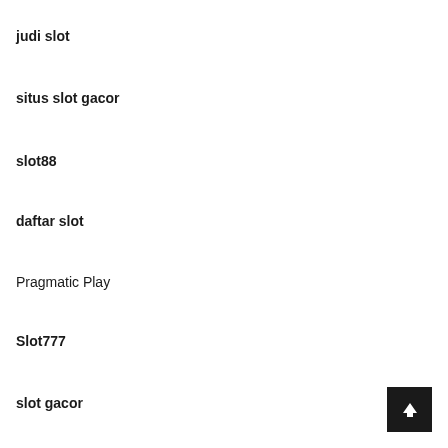judi slot
situs slot gacor
slot88
daftar slot
Pragmatic Play
Slot777
slot gacor